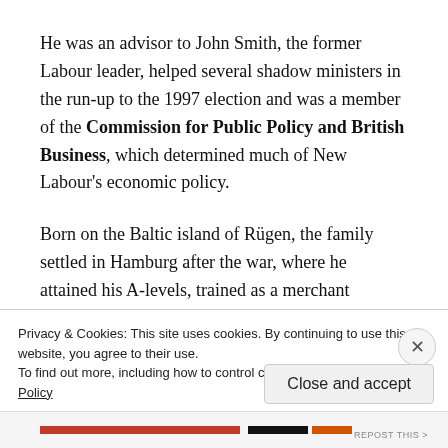He was an advisor to John Smith, the former Labour leader, helped several shadow ministers in the run-up to the 1997 election and was a member of the Commission for Public Policy and British Business, which determined much of New Labour's economic policy.
Born on the Baltic island of Rügen, the family settled in Hamburg after the war, where he attained his A-levels, trained as a merchant
Privacy & Cookies: This site uses cookies. By continuing to use this website, you agree to their use.
To find out more, including how to control cookies, see here: Cookie Policy
Close and accept